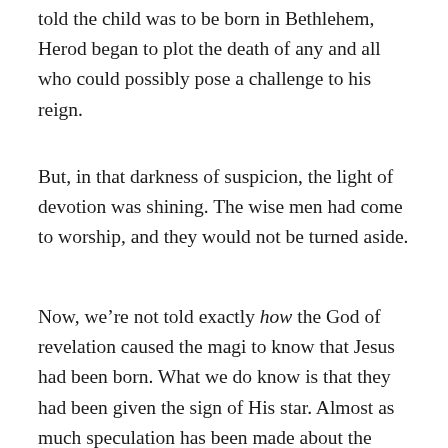told the child was to be born in Bethlehem, Herod began to plot the death of any and all who could possibly pose a challenge to his reign.
But, in that darkness of suspicion, the light of devotion was shining. The wise men had come to worship, and they would not be turned aside.
Now, we’re not told exactly how the God of revelation caused the magi to know that Jesus had been born. What we do know is that they had been given the sign of His star. Almost as much speculation has been made about the identity of that star as about the identity of the men who saw it. Some suggest it was Jupiter, the “king of the planets.” Others claim it was the conjunction of